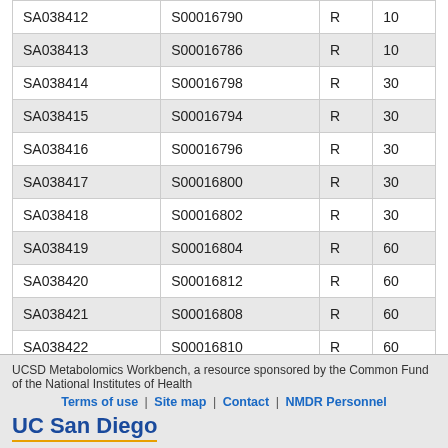| SA038412 | S00016790 | R | 10 |
| SA038413 | S00016786 | R | 10 |
| SA038414 | S00016798 | R | 30 |
| SA038415 | S00016794 | R | 30 |
| SA038416 | S00016796 | R | 30 |
| SA038417 | S00016800 | R | 30 |
| SA038418 | S00016802 | R | 30 |
| SA038419 | S00016804 | R | 60 |
| SA038420 | S00016812 | R | 60 |
| SA038421 | S00016808 | R | 60 |
| SA038422 | S00016810 | R | 60 |
| SA038423 | S00016806 | R | 60 |
Showing results 1 to 40 of 40
UCSD Metabolomics Workbench, a resource sponsored by the Common Fund of the National Institutes of Health
Terms of use | Site map | Contact | NMDR Personnel
UC San Diego